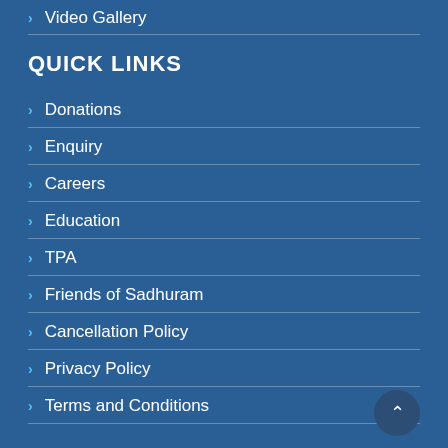Video Gallery
QUICK LINKS
Donations
Enquiry
Careers
Education
TPA
Friends of Sadhuram
Cancellation Policy
Privacy Policy
Terms and Conditions